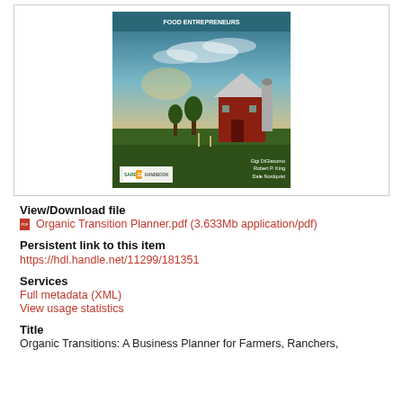[Figure (illustration): Book cover for 'Organic Transitions: A Business Planner for Farmers, Ranchers, and Food Entrepreneurs' showing a red barn in a green field with sky, SARE Handbook 12 logo, and authors Gigi DiGiacomo, Robert P. King, Dale Nordquist]
View/Download file
Organic Transition Planner.pdf (3.633Mb application/pdf)
Persistent link to this item
https://hdl.handle.net/11299/181351
Services
Full metadata (XML)
View usage statistics
Title
Organic Transitions: A Business Planner for Farmers, Ranchers,